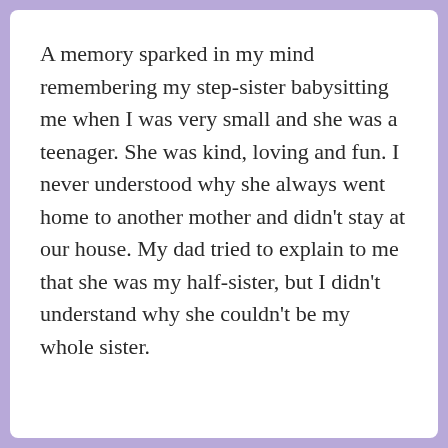A memory sparked in my mind remembering my step-sister babysitting me when I was very small and she was a teenager. She was kind, loving and fun. I never understood why she always went home to another mother and didn't stay at our house. My dad tried to explain to me that she was my half-sister, but I didn't understand why she couldn't be my whole sister.